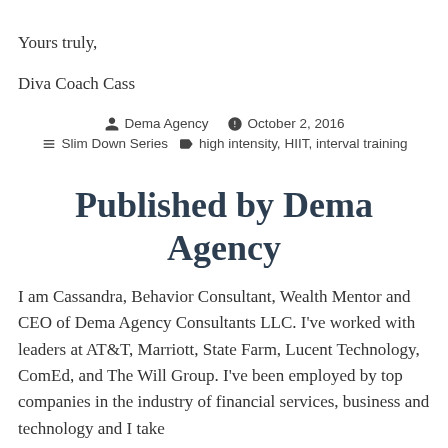Yours truly,
Diva Coach Cass
Dema Agency   October 2, 2016   Slim Down Series   high intensity, HIIT, interval training
Published by Dema Agency
I am Cassandra, Behavior Consultant, Wealth Mentor and CEO of Dema Agency Consultants LLC. I've worked with leaders at AT&T, Marriott, State Farm, Lucent Technology, ComEd, and The Will Group. I've been employed by top companies in the industry of financial services, business and technology and I take pride in business positions with the BEST. U...